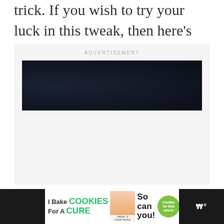trick. If you wish to try your luck in this tweak, then here's how it's done:
[Figure (other): Advertisement placeholder box with dark banner at top and large empty white space below]
[Figure (other): Cookie advertisement banner at bottom: 'I Bake COOKIES For A CURE' with photo of Haidora, 11 Cancer Survivor, 'So can you!' text, cookies for kids cancer logo, close button, and dark right section with logo]